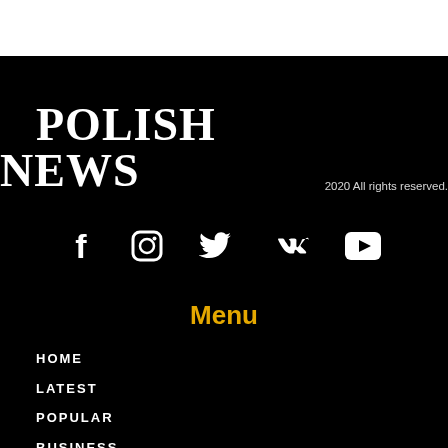POLISH NEWS
2020 All rights reserved.
[Figure (other): Social media icons: Facebook, Instagram, Twitter, VK, YouTube]
Menu
HOME
LATEST
POPULAR
BUSINESS
POLAND
UK
WORLD